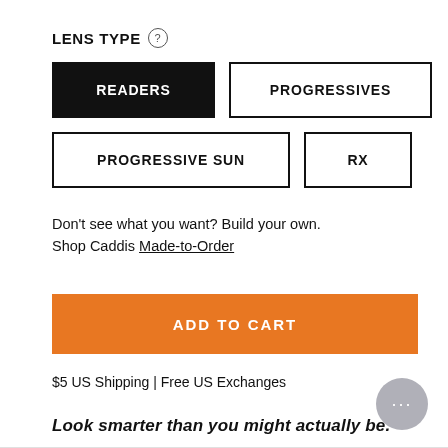LENS TYPE
READERS
PROGRESSIVES
PROGRESSIVE SUN
RX
Don't see what you want? Build your own. Shop Caddis Made-to-Order
ADD TO CART
$5 US Shipping | Free US Exchanges
Look smarter than you might actually be.